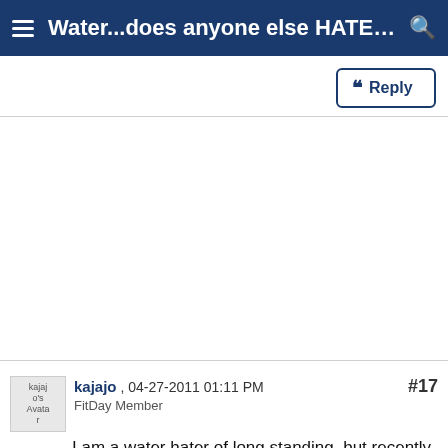Water...does anyone else HATE I...
Reply
kajajo , 04-27-2011 01:11 PM
FitDay Member
#17
I am a water hater of long standing, but recently I found non